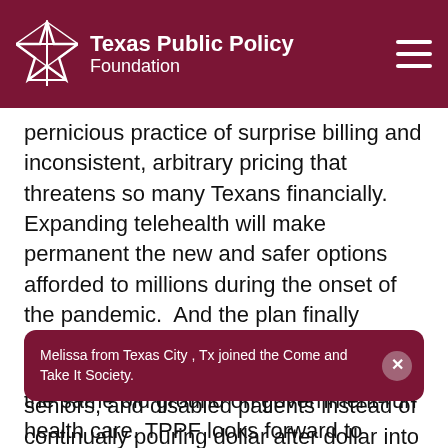Texas Public Policy Foundation
pernicious practice of surprise billing and inconsistent, arbitrary pricing that threatens so many Texans financially. Expanding telehealth will make permanent the new and safer options afforded to millions during the onset of the pandemic.  And the plan finally addresses ways to improve Medicaid for hundreds of thousands of children, seniors, and disabled patients instead of continually pouring dollar after dollar into an ineffective and struggling program. Most of all, the
Melissa from Texas City , Tx joined the Come and Take It Society.
the same old ground on government-run health care. TPPF looks forward to working with members of the House on these and other provisions to improve health outcomes for all